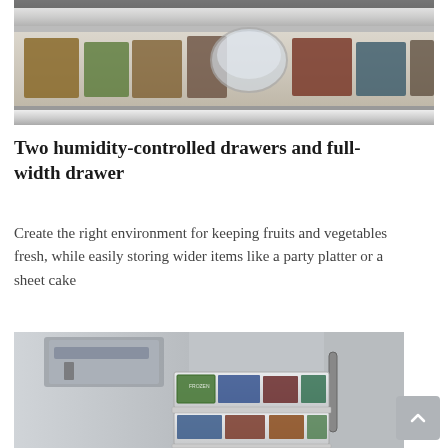[Figure (photo): Close-up photo of a refrigerator drawer from above, showing food items stored inside with a glass/stainless shelf above.]
Two humidity-controlled drawers and full-width drawer
Create the right environment for keeping fruits and vegetables fresh, while easily storing wider items like a party platter or a sheet cake
[Figure (photo): Photo of an open refrigerator freezer drawer showing stainless steel exterior, with frozen food boxes/items stored in pull-out drawers.]